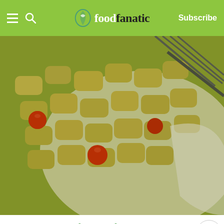foodfanatic | Subscribe
[Figure (photo): Close-up photo of gnocchi with pesto sauce and cherry tomatoes on a white plate with a fork]
9 Pesto Recipes That are Pretty Much Perfect
Matt R. • Pesto  Sep 16, ... m
Unsure how to use pesto with your next meal? No fears! Food Fanatic is here!
[Figure (photo): What's Next panel - Pesto Chicken Pizza Rolls thumbnail]
[Figure (photo): Bottom strip partial image]